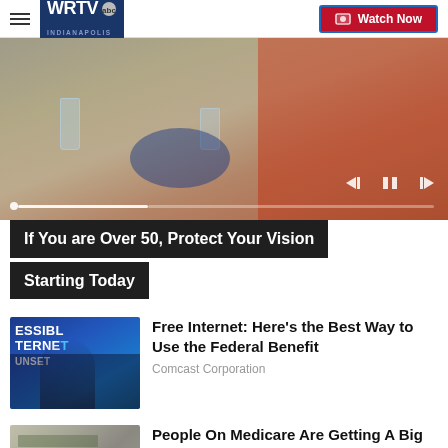WRTV Indianapolis | Watch Now
[Figure (photo): Two people eating at a table; one in orange polo shirt reaching for food, media player controls and progress bar visible at bottom]
If You are Over 50, Protect Your Vision Starting Today
[Figure (photo): Blue background with large white text ESSIBL TERNET UNSET; a woman speaking at a podium in foreground]
Free Internet: Here's the Best Way to Use the Federal Benefit
Comcast Corporation
[Figure (photo): Partial view of financial documents / checks]
People On Medicare Are Getting A Big Surprise This